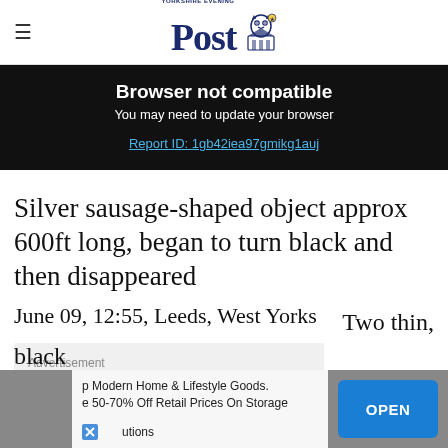Yorkshire Evening Post
Browser not compatible
You may need to update your browser
Report ID: 1gb42iea97gmikg1auj
Silver sausage-shaped object approx 600ft long, began to turn black and then disappeared
June 09, 12:55, Leeds, West Yorks
Advertisement
Two thin,
black
p Modern Home & Lifestyle Goods. e 50-70% Off Retail Prices On Storage utions